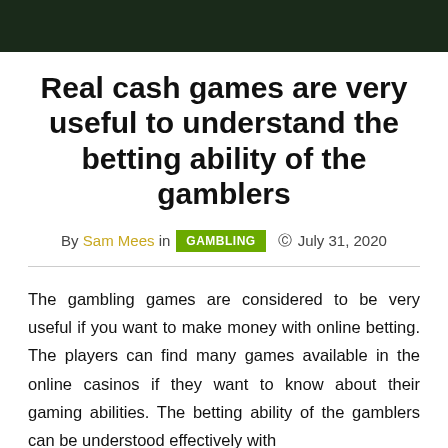[Figure (photo): Dark green/black background decorative header image]
Real cash games are very useful to understand the betting ability of the gamblers
By Sam Mees in GAMBLING  July 31, 2020
The gambling games are considered to be very useful if you want to make money with online betting. The players can find many games available in the online casinos if they want to know about their gaming abilities. The betting ability of the gamblers can be understood effectively with